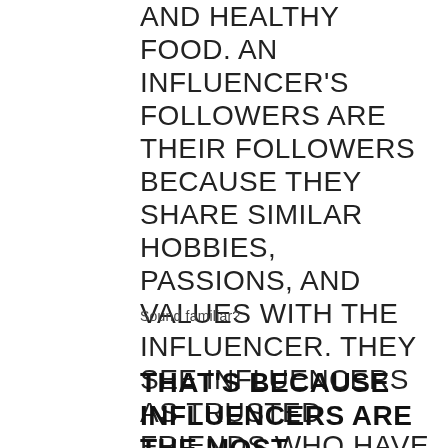AND HEALTHY FOOD. AN INFLUENCER'S FOLLOWERS ARE THEIR FOLLOWERS BECAUSE THEY SHARE SIMILAR HOBBIES, PASSIONS, AND VALUES WITH THE INFLUENCER. THEY SEE INFLUENCERS AS TRUSTED FRIENDS WHO HAVE THEIR BEST INTERESTS IN MIND.
Sound familiar?
THAT'S BECAUSE INFLUENCERS ARE THE MOST EFFECTIVE CONTENT MARKETERS IN THE WORLD.